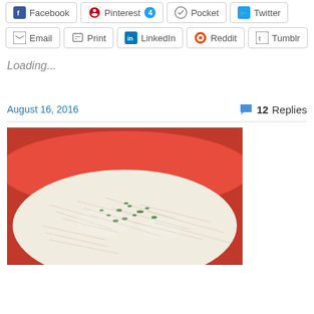Facebook | Pinterest 4 | Pocket | Twitter (share buttons row 1)
Email | Print | LinkedIn | Reddit | Tumblr (share buttons row 2)
Loading...
August 16, 2016    💬 12 Replies
[Figure (photo): Close-up photo of shredded/riced food (likely hash browns or jicama slaw) garnished with green herbs, served in a red bowl]